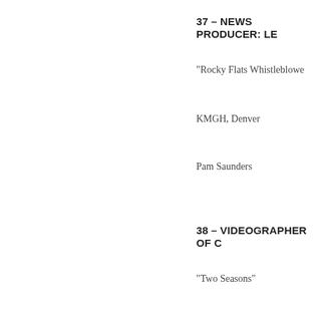37 – NEWS PRODUCER: LE…
“Rocky Flats Whistleblow…”
KMGH, Denver
Pam Saunders
38 – VIDEOGRAPHER OF C…
“Two Seasons”
KCNC, Denver
John Nickel
39 – VIDEOGRAPHER OR C…